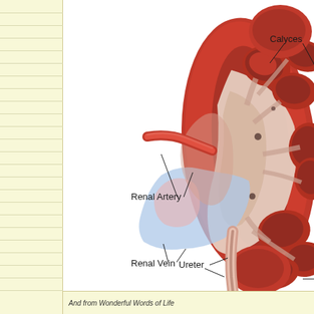[Figure (illustration): Cross-sectional anatomical diagram of a human kidney showing internal structures labeled: Calyces, Renal Artery, Renal Vein, and Ureter. The kidney is shown in red tones with white/grey internal channels. A blue structure representing the renal vein is visible on the left side. The left portion of the page has a yellow-lined notebook margin.]
And from Wonderful Words of Life